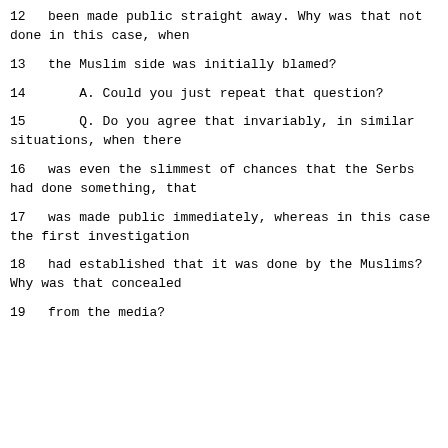12      been made public straight away.  Why was that not done in this case, when
13      the Muslim side was initially blamed?
14        A.   Could you just repeat that question?
15        Q.   Do you agree that invariably, in similar situations, when there
16      was even the slimmest of chances that the Serbs had done something, that
17      was made public immediately, whereas in this case the first investigation
18      had established that it was done by the Muslims?  Why was that concealed
19      from the media?